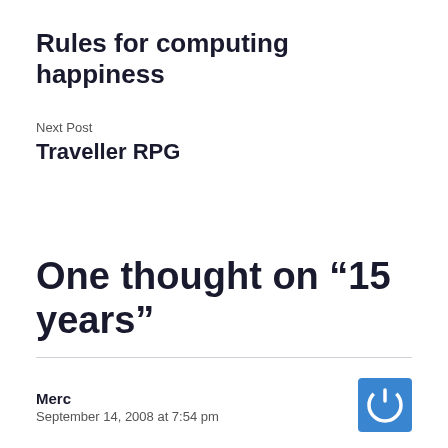Rules for computing happiness
Next Post
Traveller RPG
One thought on “15 years”
Merc
September 14, 2008 at 7:54 pm